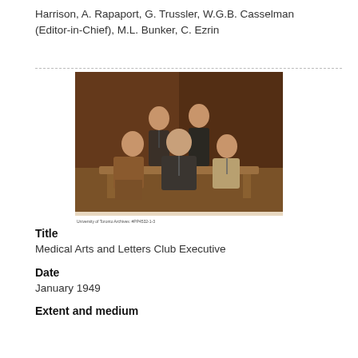Harrison, A. Rapaport, G. Trussler, W.G.B. Casselman (Editor-in-Chief), M.L. Bunker, C. Ezrin
[Figure (photo): Sepia-toned group photograph of five people (three men standing/sitting, one woman, one older man) posed in front of a dark curtain backdrop, seated on benches.]
Title
Medical Arts and Letters Club Executive
Date
January 1949
Extent and medium